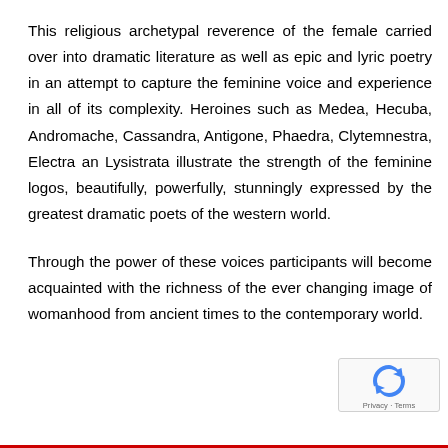This religious archetypal reverence of the female carried over into dramatic literature as well as epic and lyric poetry in an attempt to capture the feminine voice and experience in all of its complexity. Heroines such as Medea, Hecuba, Andromache, Cassandra, Antigone, Phaedra, Clytemnestra, Electra an Lysistrata illustrate the strength of the feminine logos, beautifully, powerfully, stunningly expressed by the greatest dramatic poets of the western world.
Through the power of these voices participants will become acquainted with the richness of the ever changing image of womanhood from ancient times to the contemporary world.